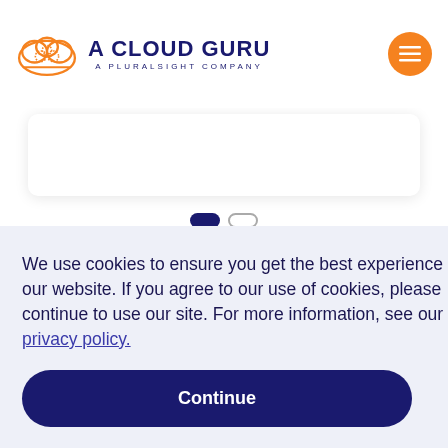A CLOUD GURU — A PLURALSIGHT COMPANY
[Figure (screenshot): White card / panel below header, partially visible]
We use cookies to ensure you get the best experience on our website. If you agree to our use of cookies, please continue to use our site. For more information, see our privacy policy.
Continue
osts
elated
to modern tech skills, from new course